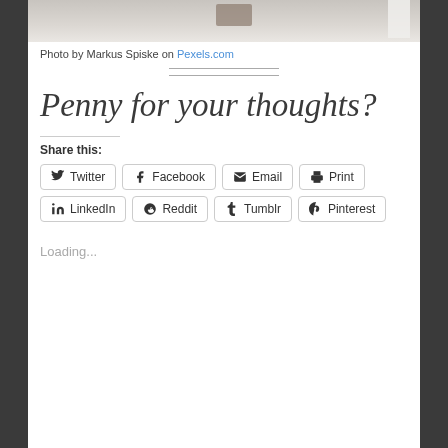[Figure (photo): Partial photo showing a desk or shelf area with items, cropped at top of page]
Photo by Markus Spiske on Pexels.com
Penny for your thoughts?
Share this:
Twitter  Facebook  Email  Print  LinkedIn  Reddit  Tumblr  Pinterest
Loading...